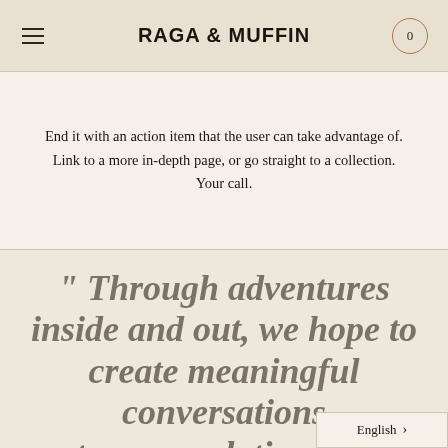RAGA & MUFFIN
End it with an action item that the user can take advantage of. Link to a more in-depth page, or go straight to a collection. Your call.
" Through adventures inside and out, we hope to create meaningful conversations stronger relationships